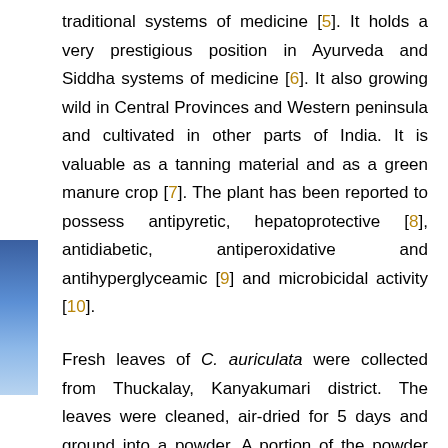traditional systems of medicine [5]. It holds a very prestigious position in Ayurveda and Siddha systems of medicine [6]. It also growing wild in Central Provinces and Western peninsula and cultivated in other parts of India. It is valuable as a tanning material and as a green manure crop [7]. The plant has been reported to possess antipyretic, hepatoprotective [8], antidiabetic, antiperoxidative and antihyperglyceamic [9] and microbicidal activity [10].
Fresh leaves of C. auriculata were collected from Thuckalay, Kanyakumari district. The leaves were cleaned, air-dried for 5 days and ground into a powder. A portion of the powder was subjected to